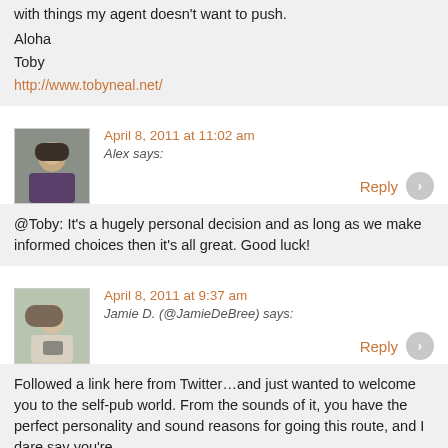with things my agent doesn't want to push.
Aloha
Toby
http://www.tobyneal.net/
April 8, 2011 at 11:02 am
Alex says:
Reply
@Toby: It's a hugely personal decision and as long as we make informed choices then it's all great. Good luck!
April 8, 2011 at 9:37 am
Jamie D. (@JamieDeBree) says:
Reply
Followed a link here from Twitter…and just wanted to welcome you to the self-pub world. From the sounds of it, you have the perfect personality and sound reasons for going this route, and I dare say you're